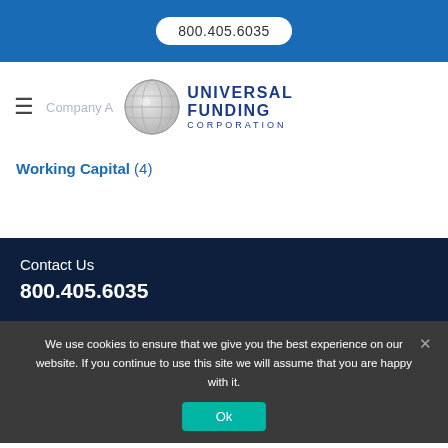800.405.6035
[Figure (logo): Universal Funding Corporation logo with globe graphic and company name in blue text]
Company A
Working Capital (4)
Contact Us
800.405.6035
We use cookies to ensure that we give you the best experience on our website. If you continue to use this site we will assume that you are happy with it.